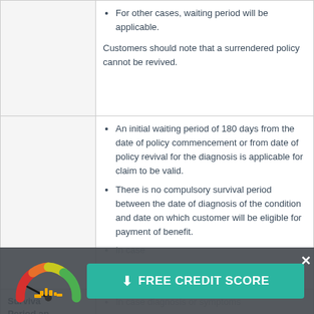For other cases, waiting period will be applicable.
Customers should note that a surrendered policy cannot be revived.
An initial waiting period of 180 days from the date of policy commencement or from date of policy revival for the diagnosis is applicable for claim to be valid.
There is no compulsory survival period between the date of diagnosis of the condition and date on which customer will be eligible for payment of benefit.
In case of... there will be no
Survival Period and Waiting...
In case diagnosis or symptoms...
[Figure (infographic): Free credit score promotional banner with gauge meter and teal button]